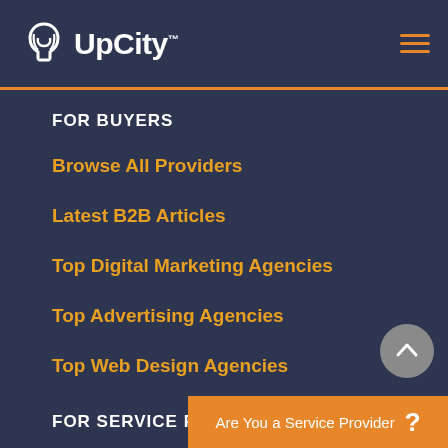UpCity™
FOR BUYERS
Browse All Providers
Latest B2B Articles
Top Digital Marketing Agencies
Top Advertising Agencies
Top Web Design Agencies
FOR SERVICE P...
Are You a Service Provider ?